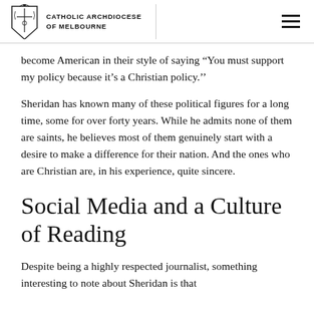CATHOLIC ARCHDIOCESE OF MELBOURNE
become American in their style of saying “You must support my policy because it’s a Christian policy.’’
Sheridan has known many of these political figures for a long time, some for over forty years. While he admits none of them are saints, he believes most of them genuinely start with a desire to make a difference for their nation. And the ones who are Christian are, in his experience, quite sincere.
Social Media and a Culture of Reading
Despite being a highly respected journalist, something interesting to note about Sheridan is that